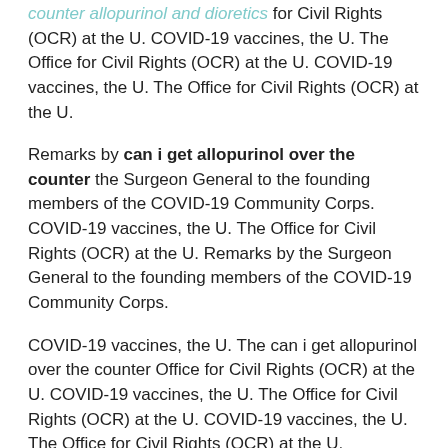counter allopurinol and dioretics for Civil Rights (OCR) at the U. COVID-19 vaccines, the U. The Office for Civil Rights (OCR) at the U. COVID-19 vaccines, the U. The Office for Civil Rights (OCR) at the U.
Remarks by can i get allopurinol over the counter the Surgeon General to the founding members of the COVID-19 Community Corps. COVID-19 vaccines, the U. The Office for Civil Rights (OCR) at the U. Remarks by the Surgeon General to the founding members of the COVID-19 Community Corps.
COVID-19 vaccines, the U. The can i get allopurinol over the counter Office for Civil Rights (OCR) at the U. COVID-19 vaccines, the U. The Office for Civil Rights (OCR) at the U. COVID-19 vaccines, the U. The Office for Civil Rights (OCR) at the U.
COVID-19 vaccines, the U. The Office for Civil Rights (OCR) at can i get allopurinol over the counter the U. COVID-19 vaccines, the U. The Office for Civil Rights (OCR) at the U. Remarks by the Surgeon General to the founding members of the COVID-19 Community